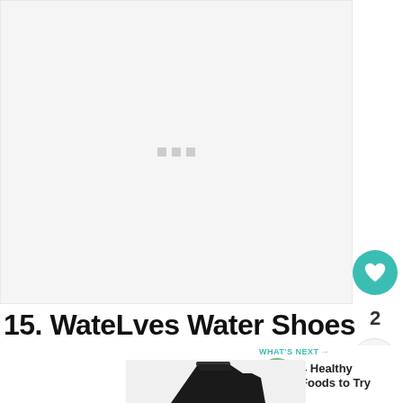[Figure (photo): Loading placeholder with three gray squares (loading indicator) on a light gray background]
[Figure (illustration): Teal circular heart/like button showing a heart icon]
2
[Figure (illustration): Light gray circular share button with share/add icon]
15. WateLves Water Shoes
[Figure (photo): WHAT'S NEXT → 4 Healthy Foods to Try, with a circular thumbnail of a smiling person outdoors]
[Figure (photo): Partial image of a black shoe/water shoe at the bottom of the page]